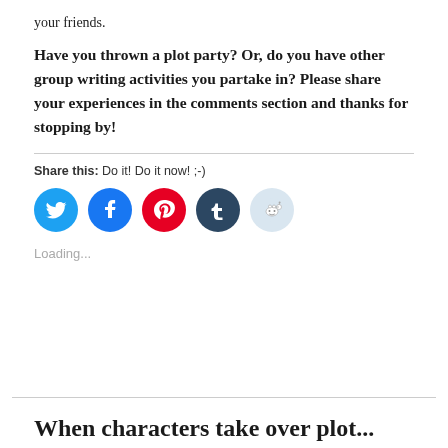your friends.
Have you thrown a plot party? Or, do you have other group writing activities you partake in? Please share your experiences in the comments section and thanks for stopping by!
Share this: Do it! Do it now! ;-)
[Figure (infographic): Social share buttons: Twitter (blue), Facebook (blue), Pinterest (red), Tumblr (dark navy), Reddit (light blue)]
Loading...
When characters take over plot...